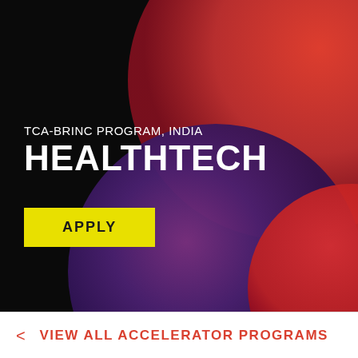[Figure (illustration): Dark background with three overlapping circles: a large orange-red circle top-right, a large purple-blue circle bottom-center, and a partial red-orange circle bottom-right, creating a colorful abstract graphic on a black background.]
TCA-BRINC PROGRAM, INDIA
HEALTHTECH
APPLY
< VIEW ALL ACCELERATOR PROGRAMS